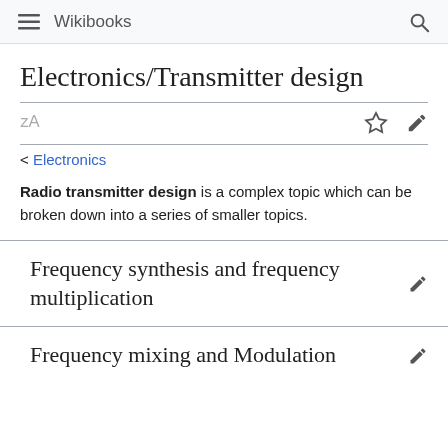Wikibooks
Electronics/Transmitter design
< Electronics
Radio transmitter design is a complex topic which can be broken down into a series of smaller topics.
Frequency synthesis and frequency multiplication
Frequency mixing and Modulation